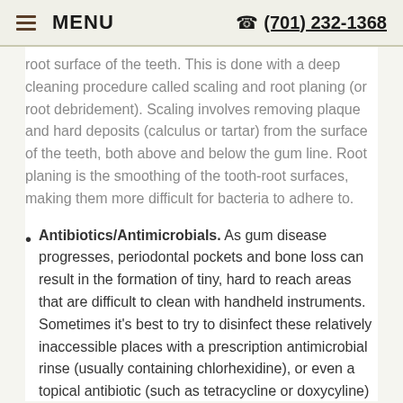MENU  (701) 232-1368
root surface of the teeth. This is done with a deep cleaning procedure called scaling and root planing (or root debridement). Scaling involves removing plaque and hard deposits (calculus or tartar) from the surface of the teeth, both above and below the gum line. Root planing is the smoothing of the tooth-root surfaces, making them more difficult for bacteria to adhere to.
Antibiotics/Antimicrobials. As gum disease progresses, periodontal pockets and bone loss can result in the formation of tiny, hard to reach areas that are difficult to clean with handheld instruments. Sometimes it's best to try to disinfect these relatively inaccessible places with a prescription antimicrobial rinse (usually containing chlorhexidine), or even a topical antibiotic (such as tetracycline or doxycyline)